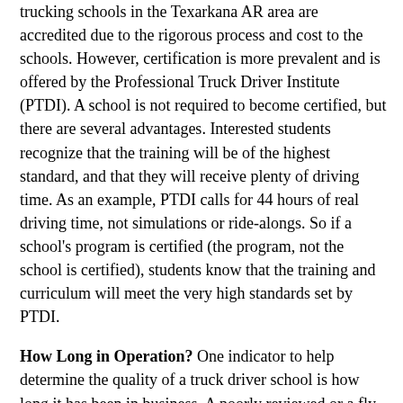trucking schools in the Texarkana AR area are accredited due to the rigorous process and cost to the schools. However, certification is more prevalent and is offered by the Professional Truck Driver Institute (PTDI). A school is not required to become certified, but there are several advantages. Interested students recognize that the training will be of the highest standard, and that they will receive plenty of driving time. As an example, PTDI calls for 44 hours of real driving time, not simulations or ride-alongs. So if a school's program is certified (the program, not the school is certified), students know that the training and curriculum will meet the very high standards set by PTDI.
How Long in Operation? One indicator to help determine the quality of a truck driver school is how long it has been in business. A poorly reviewed or a fly by night school normally will not stay in business very long, so longevity is a plus. Having said that, even the best of